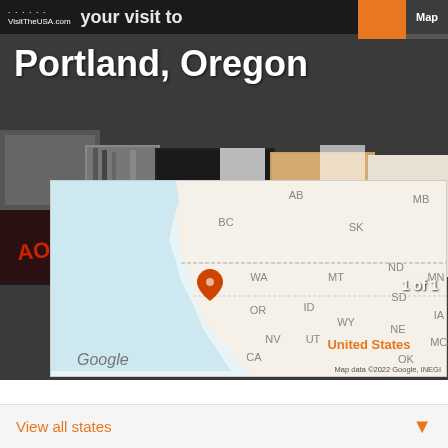VisitTheUSA.com
Portland, Oregon
[Figure (photo): Record store crates with vinyl albums including Aorta, Big Steam, The Champs, and other albums visible]
1 of 1
[Figure (map): Google Map showing western United States with orange location pin near Portland, Oregon. Labels visible: AB, MB, BC, SK, WA, MT, ND, MN, OR, ID, SD, WY, IA, NV, NE, UT, MO, CA, OK, United States]
Map data ©2022 Google, INEGI
View all states